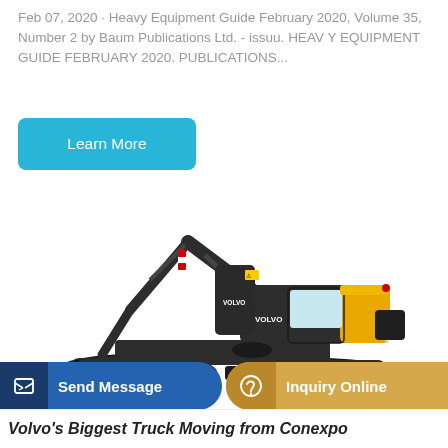Feb 07, 2020 · Heavy Equipment Guide February 2020, Volume 35, Number 2 by Baum Publications Ltd. - issuu. HEAV Y EQUIPMENT GUIDE FEBRUARY 2020. PUBLICATIONS...
Learn More
[Figure (photo): Volvo EC60D compact excavator on white background, dark grey and yellow color scheme, tracked undercarriage]
Send Message
Inquiry Online
Volvo's Biggest Truck Moving from Conexpo